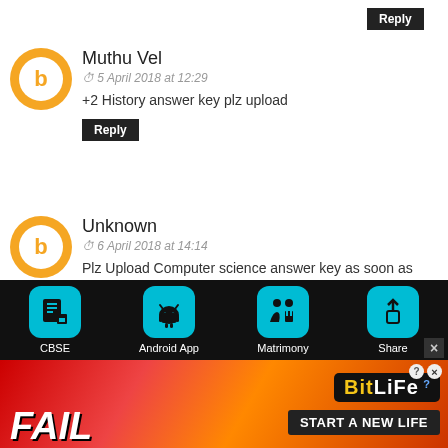Reply (button at top)
Muthu Vel
5 April 2018 at 12:29
+2 History answer key plz upload
[Reply]
Unknown
6 April 2018 at 14:14
Plz Upload Computer science answer key as soon as possible....
[Reply]
Unknown
6 April 2018 at 17:01
[Figure (screenshot): Mobile bottom toolbar with CBSE, Android App, Matrimony, Share icons on dark background, and a BitLife advertisement banner at the bottom.]